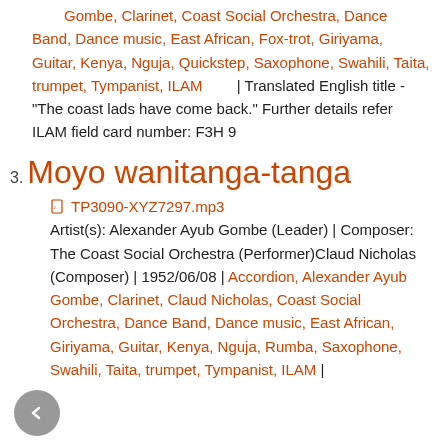Gombe, Clarinet, Coast Social Orchestra, Dance Band, Dance music, East African, Fox-trot, Giriyama, Guitar, Kenya, Nguja, Quickstep, Saxophone, Swahili, Taita, trumpet, Tympanist, ILAM | Translated English title - "The coast lads have come back." Further details refer ILAM field card number: F3H 9
3. Moyo wanitanga-tanga
TP3090-XYZ7297.mp3 Artist(s): Alexander Ayub Gombe (Leader) | Composer: The Coast Social Orchestra (Performer)Claud Nicholas (Composer) | 1952/06/08 | Accordion, Alexander Ayub Gombe, Clarinet, Claud Nicholas, Coast Social Orchestra, Dance Band, Dance music, East African, Giriyama, Guitar, Kenya, Nguja, Rumba, Saxophone, Swahili, Taita, trumpet, Tympanist, ILAM |